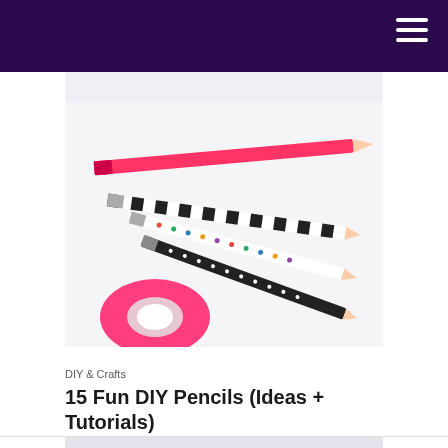[Figure (photo): DIY decorated pencils with washi tape patterns (pink solid, black and white stripe, polka dot, black polka dot) scattered on a white surface with a pink washi tape roll in the foreground]
DIY & Crafts
15 Fun DIY Pencils (Ideas + Tutorials)
[Figure (photo): Partial view of another photo beginning at the bottom of the page]